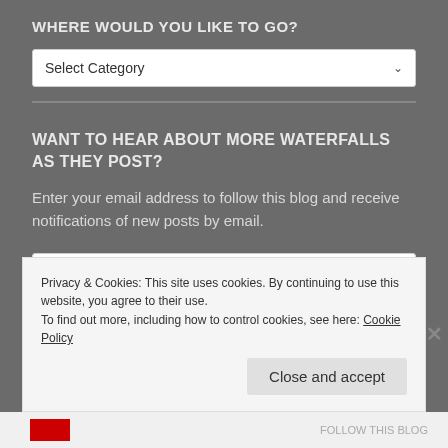WHERE WOULD YOU LIKE TO GO?
[Figure (screenshot): A dropdown select box with 'Select Category' placeholder text and a dropdown arrow]
WANT TO HEAR ABOUT MORE WATERFALLS AS THEY POST?
Enter your email address to follow this blog and receive notifications of new posts by email.
[Figure (screenshot): An email input field with placeholder text 'Enter your email address']
Privacy & Cookies: This site uses cookies. By continuing to use this website, you agree to their use.
To find out more, including how to control cookies, see here: Cookie Policy
Close and accept